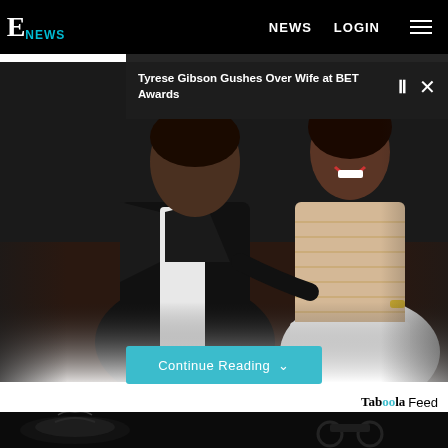E NEWS  NEWS  LOGIN
Tyrese Gibson Gushes Over Wife at BET Awards
[Figure (photo): Couple at formal event: man in black tuxedo with bow tie, woman in white and gold beaded halter gown, seated together at what appears to be BET Awards]
Continue Reading
Taboola Feed
[Figure (photo): Black and white image showing a black handbag on left and a motorcycle on right]